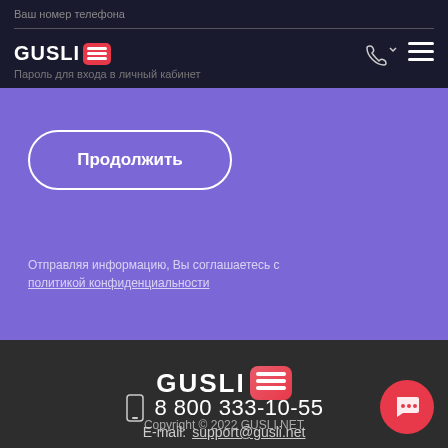Ваш номер телефона — GUSLI (logo) — Пароль для входа в личный кабинет
[Figure (illustration): Purple section with 'Продолжить' (Continue) button and privacy policy text in Russian]
Отправляя информацию, Вы соглашаетесь с политикой конфиденциальности
[Figure (logo): GUSLI logo with red icon — Copyright © 2022 GUSLI.NET — phone 8 800 333-10-55 — E-mail: support@gusli.net]